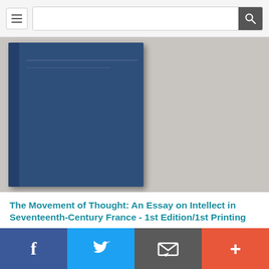Navigation and search bar
[Figure (photo): Photo of a blue hardcover book with embossed title text on the cover, shown against a gray background. The spine of the book is visible on the left side.]
The Movement of Thought: An Essay on Intellect in Seventeenth-Century France - 1st Edition/1st Printing
De Ley, Herbert
[Figure (infographic): Social sharing bar with four buttons: Facebook (blue), Twitter (light blue), Email/share (dark gray), and Add/plus (orange-red).]